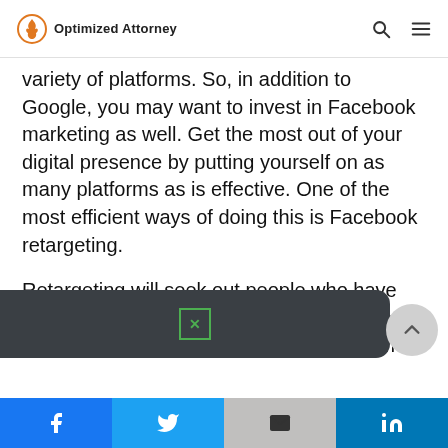Optimized Attorney
variety of platforms. So, in addition to Google, you may want to invest in Facebook marketing as well. Get the most out of your digital presence by putting yourself on as many platforms as is effective. One of the most efficient ways of doing this is Facebook retargeting.
Retargeting will seek out people who have already visited your site and put your name in recognition. It may encourage them to come
Facebook  Twitter  Gmail  LinkedIn